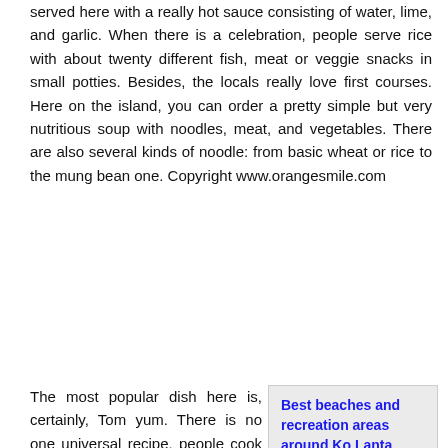served here with a really hot sauce consisting of water, lime, and garlic. When there is a celebration, people serve rice with about twenty different fish, meat or veggie snacks in small potties. Besides, the locals really love first courses. Here on the island, you can order a pretty simple but very nutritious soup with noodles, meat, and vegetables. There are also several kinds of noodle: from basic wheat or rice to the mung bean one. Copyright www.orangesmile.com
The most popular dish here is, certainly, Tom yum. There is no one universal recipe, people cook it in different variations, so all the ingredients can be changed in proportions depending on the cook's personal preferences. Still, the base of any Tom yum includes fish sauce, fresh coconut, lemongrass, kaffir lime leaves, and
Best beaches and recreation areas around Ko Lanta Island
One of the main activities on Lanta archipelago is beach going. There are suitable places for beach activities on both populated and uninhabited island. The most popular and one of the … Open